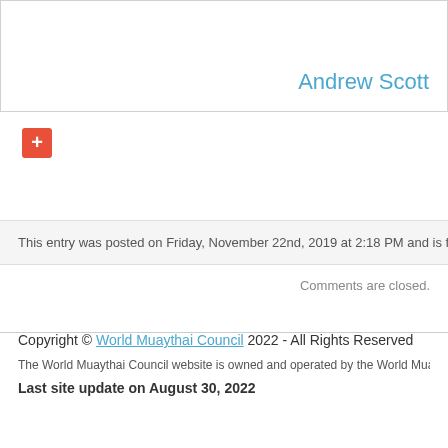[Figure (other): Author card box with name 'Andrew Scott' in blue/cyan text on the right side]
[Figure (other): Red/orange plus button icon]
This entry was posted on Friday, November 22nd, 2019 at 2:18 PM and is fi
Comments are closed.
Copyright © World Muaythai Council 2022 - All Rights Reserved
The World Muaythai Council website is owned and operated by the World Muaythai Council. No
Last site update on August 30, 2022